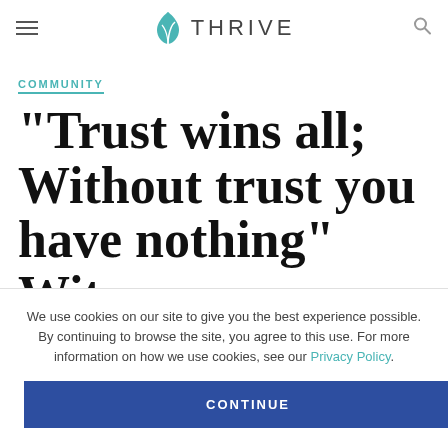THRIVE
COMMUNITY
“Trust wins all; Without trust you have nothing” With Tal...
We use cookies on our site to give you the best experience possible. By continuing to browse the site, you agree to this use. For more information on how we use cookies, see our Privacy Policy.
CONTINUE